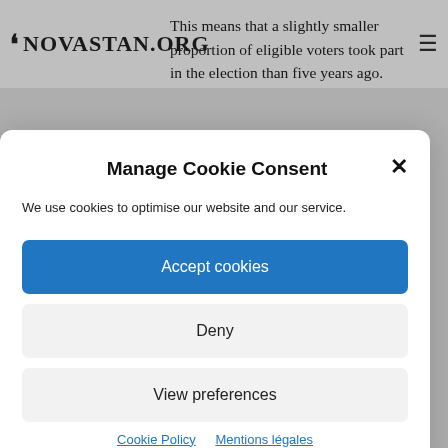NOVASTAN.ORG
This means that a slightly smaller proportion of eligible voters took part in the election than five years ago.
Manage Cookie Consent
We use cookies to optimise our website and our service.
Accept cookies
Deny
View preferences
Cookie Policy   Mentions légales
turnout, this time the 7% blocking clause excludes a particularly high percentage of votes. The four elected